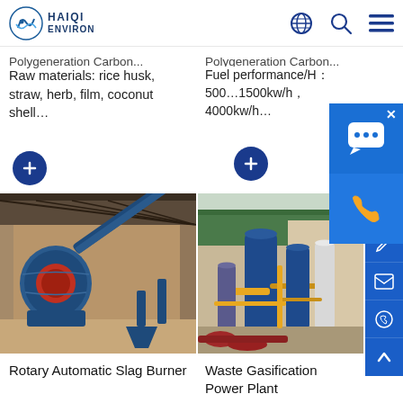HAIQI ENVIRON
Polygeneration Carbon...
Raw materials: rice husk, straw, herb, film, coconut shell…
Fuel performance/H：500…1500kw/h，4000kw/h…
[Figure (photo): Industrial blue machinery (Rotary Automatic Slag Burner) with conveyor belt inside a factory warehouse]
[Figure (photo): Industrial facility showing Waste Gasification Power Plant with blue cylindrical tanks and pipework outside a green-roofed building]
Rotary Automatic Slag Burner
Waste Gasification Power Plant